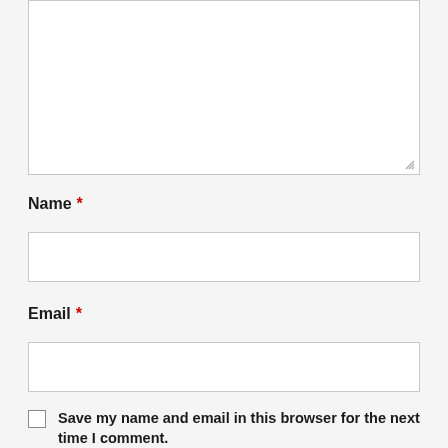[Figure (screenshot): Text area input box (empty, resizable) at the top of a web form]
Name *
[Figure (screenshot): Name text input field (empty)]
Email *
[Figure (screenshot): Email text input field (empty)]
Save my name and email in this browser for the next time I comment.